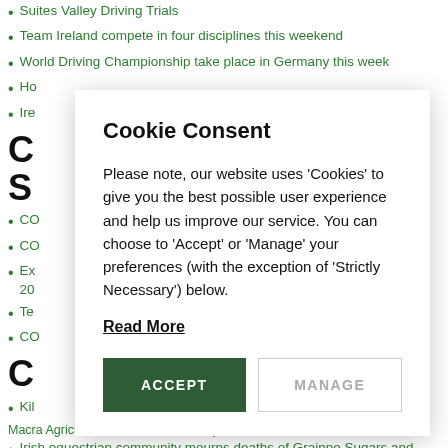Suites Valley Driving Trials
Team Ireland compete in four disciplines this weekend
World Driving Championship take place in Germany this week
Ho...
Ire...
C...
S...
CO...
CO...
Ex... 20...
Te...
CO...
C...
Kil...
Macra Agricultural Skillnet & Horse Sport Ireland
Irish equestrian community mourns deaths of Grainne Sugars and
Cookie Consent
Please note, our website uses 'Cookies' to give you the best possible user experience and help us improve our service. You can choose to 'Accept' or 'Manage' your preferences (with the exception of 'Strictly Necessary') below.
Read More
ACCEPT
MANAGE